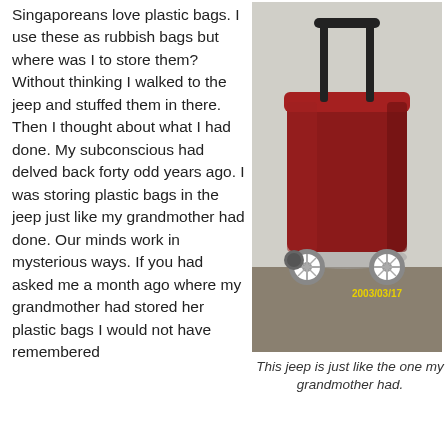Singaporeans love plastic bags. I use these as rubbish bags but where was I to store them? Without thinking I walked to the jeep and stuffed them in there. Then I thought about what I had done. My subconscious had delved back forty odd years ago. I was storing plastic bags in the jeep just like my grandmother had done. Our minds work in mysterious ways. If you had asked me a month ago where my grandmother had stored her plastic bags I would not have remembered
[Figure (photo): A red rolling cart/jeep with four wheels and a black pull handle, photographed in what appears to be a garage or storage area. Date stamp reads 2003/03/17.]
This jeep is just like the one my grandmother had.